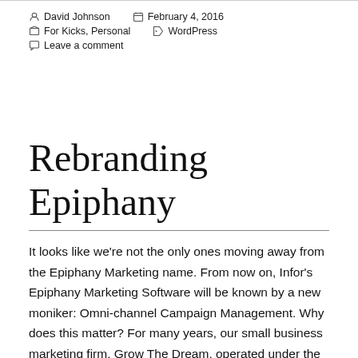David Johnson   February 4, 2016   For Kicks, Personal   WordPress   Leave a comment
Rebranding Epiphany
It looks like we're not the only ones moving away from the Epiphany Marketing name. From now on, Infor's Epiphany Marketing Software will be known by a new moniker: Omni-channel Campaign Management. Why does this matter? For many years, our small business marketing firm, Grow The Dream, operated under the name Epiphany Marketing, LLC. From 1999 on, we